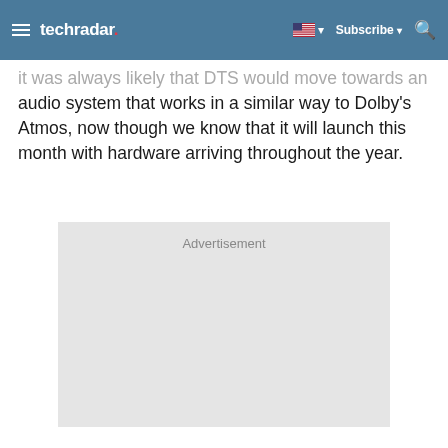techradar — Subscribe
it was always likely that DTS would move towards an audio system that works in a similar way to Dolby's Atmos, now though we know that it will launch this month with hardware arriving throughout the year.
[Figure (other): Advertisement placeholder box with label 'Advertisement']